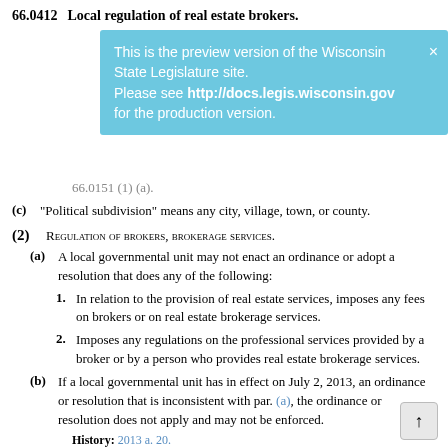66.0412  Local regulation of real estate brokers.
[Figure (screenshot): Preview banner: 'This is the preview version of the Wisconsin State Legislature site. Please see http://docs.legis.wisconsin.gov for the production version.' with close X button. Light blue background.]
66.0151 (1) (a).
(c) "Political subdivision" means any city, village, town, or county.
(2) Regulation of brokers, brokerage services.
(a) A local governmental unit may not enact an ordinance or adopt a resolution that does any of the following:
1. In relation to the provision of real estate services, imposes any fees on brokers or on real estate brokerage services.
2. Imposes any regulations on the professional services provided by a broker or by a person who provides real estate brokerage services.
(b) If a local governmental unit has in effect on July 2, 2013, an ordinance or resolution that is inconsistent with par. (a), the ordinance or resolution does not apply and may not be enforced.
History: 2013 a. 20.
66.0413  Razing buildings.